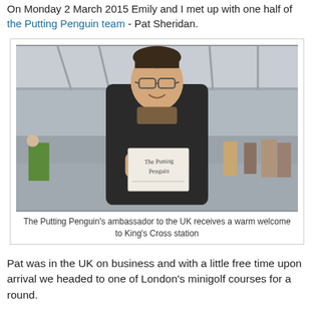On Monday 2 March 2015 Emily and I met up with one half of the Putting Penguin team - Pat Sheridan.
[Figure (photo): A man standing in King's Cross station holding a handwritten note reading 'The Putting Penguin'. He is wearing a dark jacket and glasses, smiling at the camera.]
The Putting Penguin's ambassador to the UK receives a warm welcome to King's Cross station
Pat was in the UK on business and with a little free time upon arrival we headed to one of London's minigolf courses for a round.